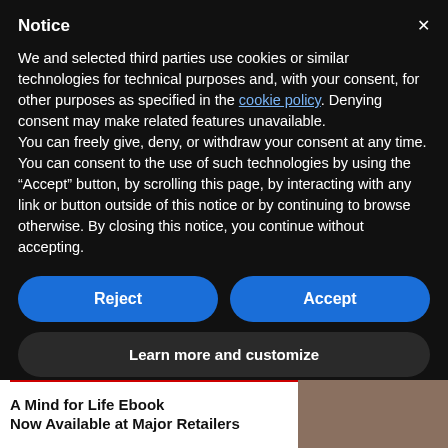Notice
We and selected third parties use cookies or similar technologies for technical purposes and, with your consent, for other purposes as specified in the cookie policy. Denying consent may make related features unavailable.
You can freely give, deny, or withdraw your consent at any time.
You can consent to the use of such technologies by using the “Accept” button, by scrolling this page, by interacting with any link or button outside of this notice or by continuing to browse otherwise. By closing this notice, you continue without accepting.
Reject
Accept
Learn more and customize
A Mind for Life Ebook
Now Available at Major Retailers